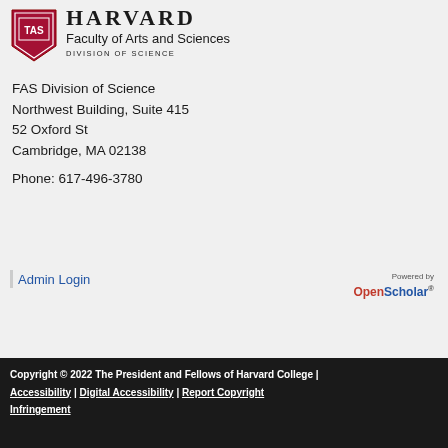[Figure (logo): Harvard FAS Division of Science logo with shield and HARVARD wordmark, Faculty of Arts and Sciences, Division of Science text]
FAS Division of Science
Northwest Building, Suite 415
52 Oxford St
Cambridge, MA 02138
Phone: 617-496-3780
Admin Login
[Figure (logo): Powered by OpenScholar® logo]
Copyright © 2022 The President and Fellows of Harvard College | Accessibility | Digital Accessibility | Report Copyright Infringement